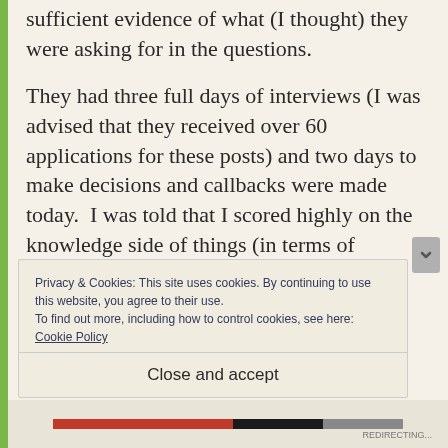sufficient evidence of what (I thought) they were asking for in the questions.
They had three full days of interviews (I was advised that they received over 60 applications for these posts) and two days to make decisions and callbacks were made today.  I was told that I scored highly on the knowledge side of things (in terms of understanding the Code of Practice and technicalities of the position) but that I did
Privacy & Cookies: This site uses cookies. By continuing to use this website, you agree to their use.
To find out more, including how to control cookies, see here: Cookie Policy
Close and accept